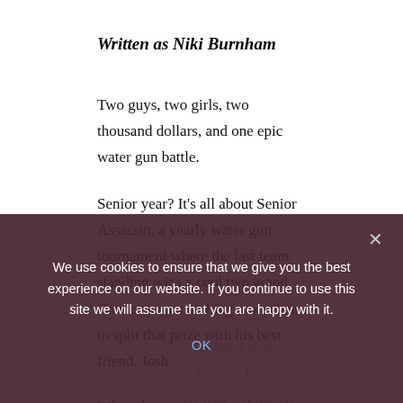Written as Niki Burnham
Two guys, two girls, two thousand dollars, and one epic water gun battle.
Senior year? It’s all about Senior Assassin, a yearly water gun tournament where the last team standing wins a cool two grand. Connor wants nothing more than to split that prize with his best friend, Josh.
When the guys’ mission is put in jeopardy by Molly—thanks to her crush on Connor—Josh concocts a plan to thwart her, one that involves his academically-
inclined sister, Payton, but as Payton is forced to...
Connor, who wins at…
One thing’s for certain: When Connor, Payton, Josh…
We use cookies to ensure that we give you the best experience on our website. If you continue to use this site we will assume that you are happy with it.
OK